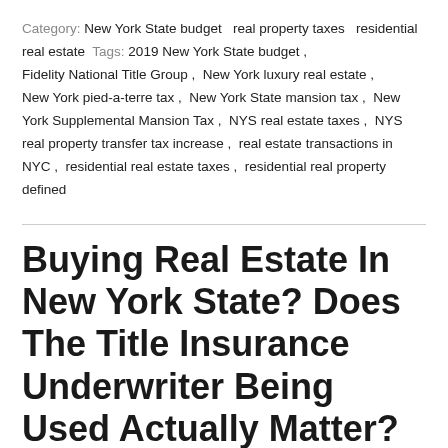Category: New York State budget  real property taxes  residential real estate  Tags: 2019 New York State budget , Fidelity National Title Group , New York luxury real estate , New York pied-a-terre tax , New York State mansion tax , New York Supplemental Mansion Tax , NYS real estate taxes , NYS real property transfer tax increase , real estate transactions in NYC , residential real estate taxes , residential real property defined
Buying Real Estate In New York State? Does The Title Insurance Underwriter Being Used Actually Matter?
[Figure (photo): Photo of a house exterior showing roof and windows, grayscale/muted tones]
Summary: 'In the New York State title insurance